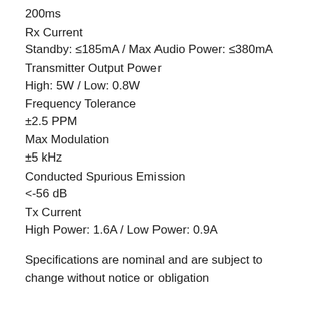200ms
Rx Current
Standby: ≤185mA / Max Audio Power: ≤380mA
Transmitter Output Power
High: 5W / Low: 0.8W
Frequency Tolerance
±2.5 PPM
Max Modulation
±5 kHz
Conducted Spurious Emission
<-56 dB
Tx Current
High Power: 1.6A / Low Power: 0.9A
Specifications are nominal and are subject to change without notice or obligation